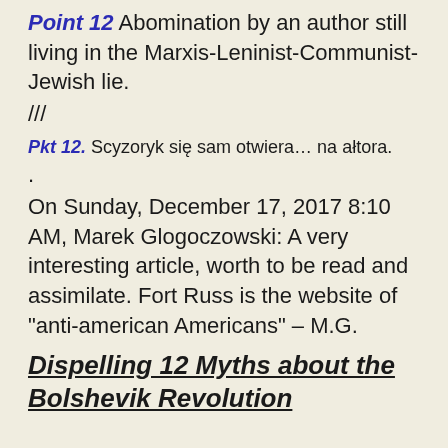Point 12 Abomination by an author still living in the Marxis-Leninist-Communist-Jewish lie.
///
Pkt 12. Scyzoryk się sam otwiera… na ałtora.
.
On Sunday, December 17, 2017 8:10 AM, Marek Glogoczowski: A very interesting article, worth to be read and assimilate. Fort Russ is the website of "anti-american Americans" – M.G.
Dispelling 12 Myths about the Bolshevik Revolution